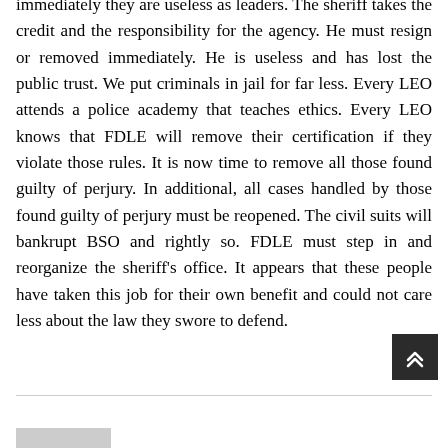immediately they are useless as leaders. The sheriff takes the credit and the responsibility for the agency. He must resign or removed immediately. He is useless and has lost the public trust. We put criminals in jail for far less. Every LEO attends a police academy that teaches ethics. Every LEO knows that FDLE will remove their certification if they violate those rules. It is now time to remove all those found guilty of perjury. In additional, all cases handled by those found guilty of perjury must be reopened. The civil suits will bankrupt BSO and rightly so. FDLE must step in and reorganize the sheriff's office. It appears that these people have taken this job for their own benefit and could not care less about the law they swore to defend.